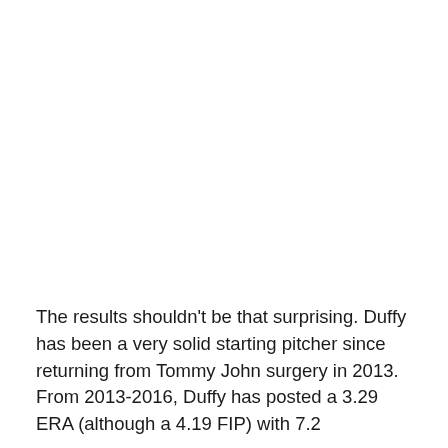The results shouldn't be that surprising. Duffy has been a very solid starting pitcher since returning from Tommy John surgery in 2013. From 2013-2016, Duffy has posted a 3.29 ERA (although a 4.19 FIP) with 7.2 strikeouts per nine innings per nine innings. The...